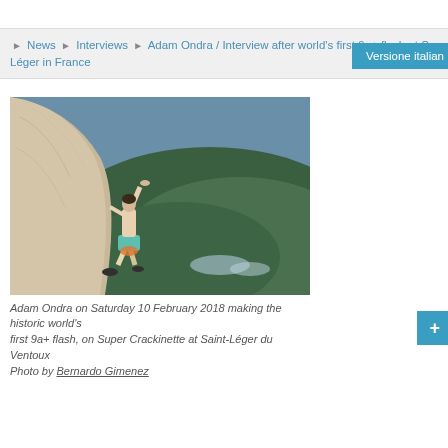▶ News ▶ Interviews ▶ Adam Ondra / Interview after world's first 9a+ flash at S Léger in France
[Figure (photo): Adam Ondra climbing on a large overhanging rock face (Super Crackinette at Saint-Léger du Ventoux), shirtless, with mountain forest valley visible in background.]
Adam Ondra on Saturday 10 February 2018 making the historic world's first 9a+ flash, on Super Crackinette at Saint-Léger du Ventoux Photo by Bernardo Gimenez